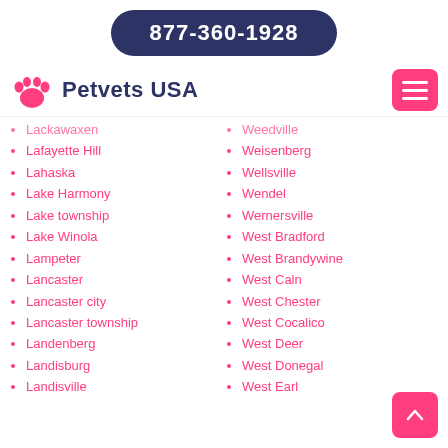877-360-1928
[Figure (logo): Petvets USA logo with pink paw print icon and dark blue brand name text]
Lackawaxen
Lafayette Hill
Lahaska
Lake Harmony
Lake township
Lake Winola
Lampeter
Lancaster
Lancaster city
Lancaster township
Landenberg
Landisburg
Landisville
Weedville
Weisenberg
Wellsville
Wendel
Wernersville
West Bradford
West Brandywine
West Caln
West Chester
West Cocalico
West Deer
West Donegal
West Earl